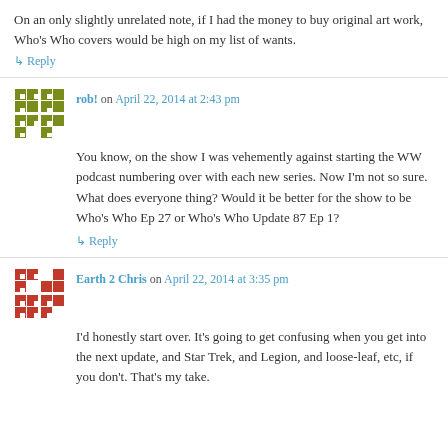On an only slightly unrelated note, if I had the money to buy original art work, Who's Who covers would be high on my list of wants.
↳ Reply
rob! on April 22, 2014 at 2:43 pm
You know, on the show I was vehemently against starting the WW podcast numbering over with each new series. Now I'm not so sure. What does everyone thing? Would it be better for the show to be Who's Who Ep 27 or Who's Who Update 87 Ep 1?
↳ Reply
Earth 2 Chris on April 22, 2014 at 3:35 pm
I'd honestly start over. It's going to get confusing when you get into the next update, and Star Trek, and Legion, and loose-leaf, etc, if you don't. That's my take.